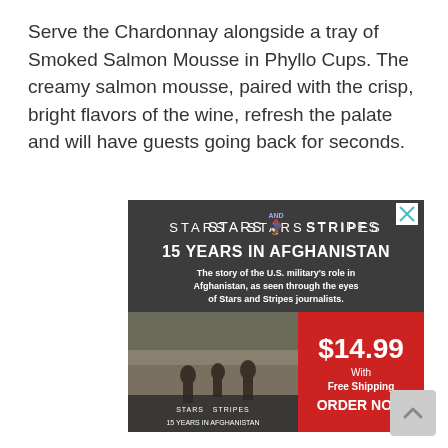Serve the Chardonnay alongside a tray of Smoked Salmon Mousse in Phyllo Cups. The creamy salmon mousse, paired with the crisp, bright flavors of the wine, refresh the palate and will have guests going back for seconds.
[Figure (infographic): Stars and Stripes advertisement: '15 Years in Afghanistan' — The story of the U.S. military's role in Afghanistan, as seen through the eyes of Stars and Stripes journalists. $14.99 With Free Shipping ORDER NOW. Shows a book cover with soldiers and a red price panel.]